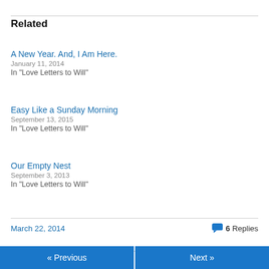Related
A New Year. And, I Am Here.
January 11, 2014
In "Love Letters to Will"
Easy Like a Sunday Morning
September 13, 2015
In "Love Letters to Will"
Our Empty Nest
September 3, 2013
In "Love Letters to Will"
March 22, 2014
6 Replies
« Previous    Next »